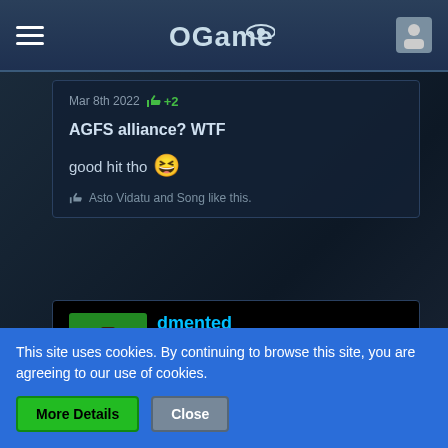OGame
Mar 8th 2022 +2
AGFS alliance? WTF
good hit tho 😆
Asto Vidatu and Song like this.
dmented
I'm one of the big boys now :D
★ ★
This site uses cookies. By continuing to browse this site, you are agreeing to our use of cookies.